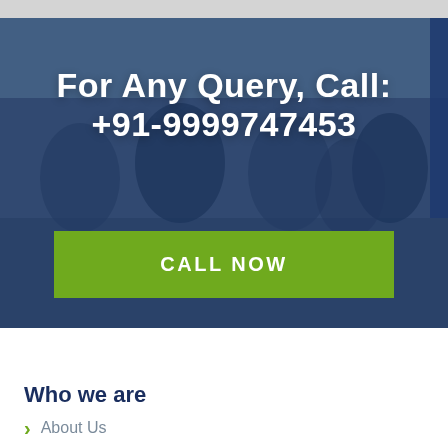[Figure (photo): Classroom photo with students sitting at desks with laptops, overlaid with a dark blue semi-transparent overlay. White bold text overlay reads 'For Any Query, Call: +91-9999747453' with a green 'CALL NOW' button.]
For Any Query, Call:
+91-9999747453
CALL NOW
Who we are
About Us